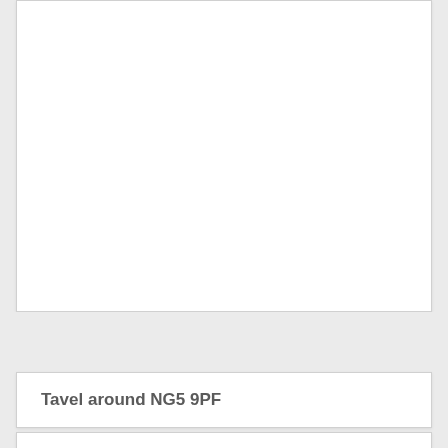[Figure (other): White card area, blank content region]
Tavel around NG5 9PF